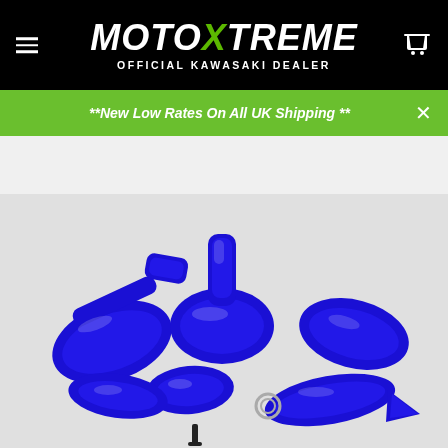MOTOX̲TREME OFFICIAL KAWASAKI DEALER
**New Low Rates On All UK Shipping **
[Figure (photo): Blue motorcycle plastic bodywork kit laid out on a white background, showing fenders, side panels, fuel tank cover, and other plastic fairing components in bright blue color.]